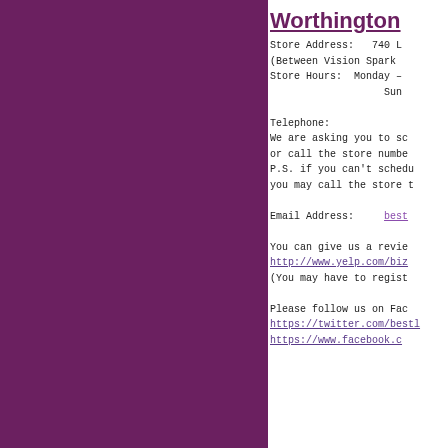Worthington
Store Address:    740 L
(Between Vision Spark
Store Hours:  Monday –
                    Sun

Telephone:
We are asking you to sc
or call the store number
P.S. if you can't schedu
you may call the store t

Email Address:      best

You can give us a revie
http://www.yelp.com/biz
(You may have to regist

Please follow us on Fac
https://twitter.com/bestl
https://www.facebook.c